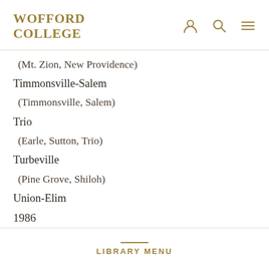WOFFORD COLLEGE
(Mt. Zion, New Providence)
Timmonsville-Salem
(Timmonsville, Salem)
Trio
(Earle, Sutton, Trio)
Turbeville
(Pine Grove, Shiloh)
Union-Elim
1986
LIBRARY MENU